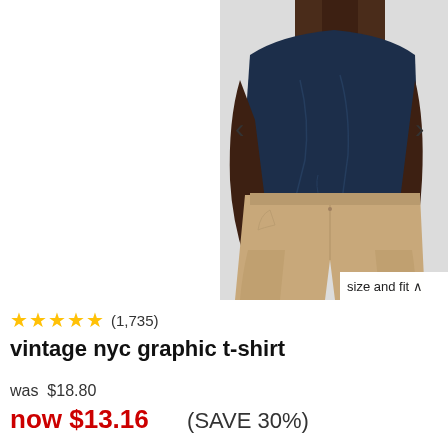[Figure (photo): A person wearing a navy blue t-shirt and khaki/tan pants, shown from neck to knees. The background is light gray. Navigation arrows are visible on left and right sides of the image. A 'size and fit' label appears at the bottom right corner.]
★★★★★ (1,735)
vintage nyc graphic t-shirt
was $18.80
now $13.16    (SAVE 30%)